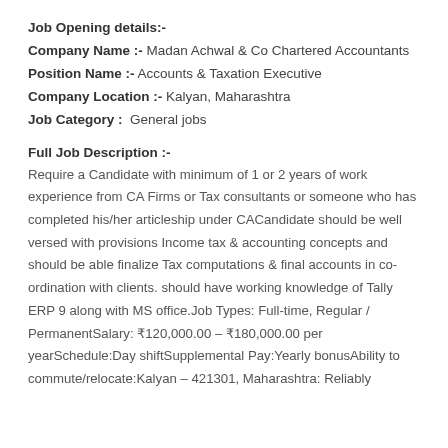Job Opening details:-
Company Name :- Madan Achwal & Co Chartered Accountants
Position Name :- Accounts & Taxation Executive
Company Location :- Kalyan, Maharashtra
Job Category :  General jobs
Full Job Description :-
Require a Candidate with minimum of 1 or 2 years of work experience from CA Firms or Tax consultants or someone who has completed his/her articleship under CACandidate should be well versed with provisions Income tax & accounting concepts and should be able finalize Tax computations & final accounts in co-ordination with clients. should have working knowledge of Tally ERP 9 along with MS office.Job Types: Full-time, Regular / PermanentSalary: ₹120,000.00 – ₹180,000.00 per yearSchedule:Day shiftSupplemental Pay:Yearly bonusAbility to commute/relocate:Kalyan – 421301, Maharashtra: Reliably